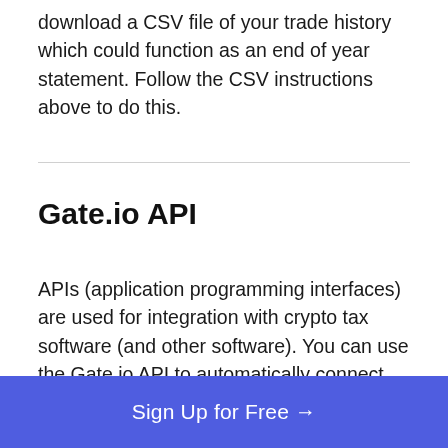download a CSV file of your trade history which could function as an end of year statement. Follow the CSV instructions above to do this.
Gate.io API
APIs (application programming interfaces) are used for integration with crypto tax software (and other software). You can use the Gate.io API to automatically connect your Gate.io account with a crypto tax app, which can then calculate your Gate.io taxes for you. See how
Sign Up for Free →